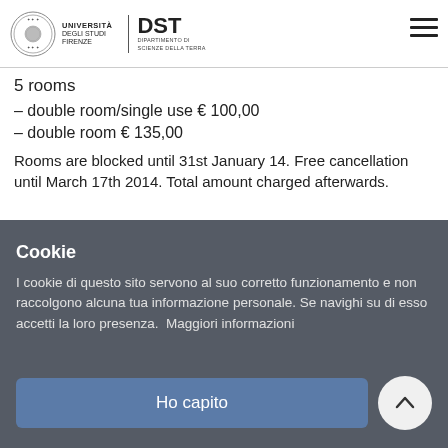Università degli Studi Firenze — DST Dipartimento di Scienze della Terra
5 rooms
– double room/single use € 100,00
– double room € 135,00
Rooms are blocked until 31st January 14. Free cancellation until March 17th 2014. Total amount charged afterwards.
Cookie
I cookie di questo sito servono al suo corretto funzionamento e non raccolgono alcuna tua informazione personale. Se navighi su di esso accetti la loro presenza.  Maggiori informazioni
Ho capito